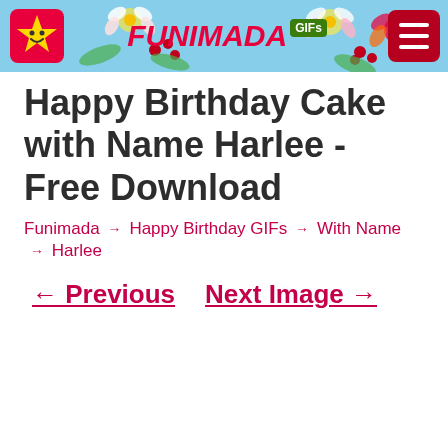FUNIMADA GIFs
Happy Birthday Cake with Name Harlee - Free Download
Funimada → Happy Birthday GIFs → With Name → Harlee
← Previous   Next Image →